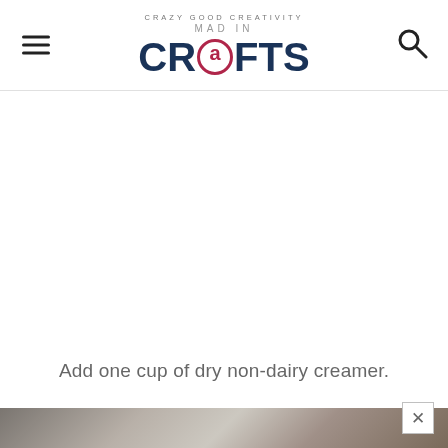Mad in Crafts — Crazy Good Creativity
[Figure (other): Advertisement area (blank white space)]
Add one cup of dry non-dairy creamer.
[Figure (photo): Partial photo of crafting/recipe materials on a table, partially obscured by a close (X) button overlay in the bottom right corner]